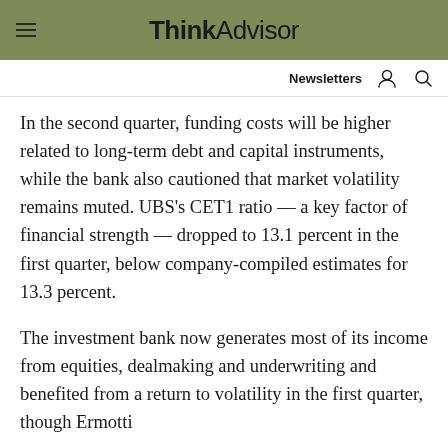ThinkAdvisor
In the second quarter, funding costs will be higher related to long-term debt and capital instruments, while the bank also cautioned that market volatility remains muted. UBS's CET1 ratio — a key factor of financial strength — dropped to 13.1 percent in the first quarter, below company-compiled estimates for 13.3 percent.
The investment bank now generates most of its income from equities, dealmaking and underwriting and benefited from a return to volatility in the first quarter, though Ermotti